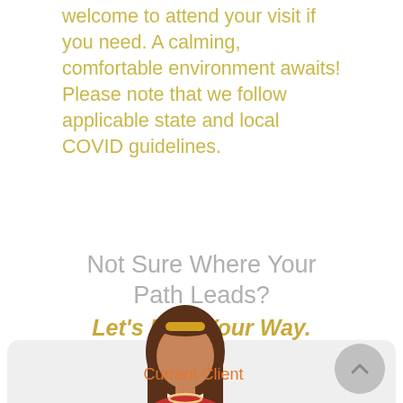welcome to attend your visit if you need. A calming, comfortable environment awaits! Please note that we follow applicable state and local COVID guidelines.
Not Sure Where Your Path Leads? Let's Find Your Way.
[Figure (illustration): Avatar illustration of a woman with long brown hair and a red top, with a yellow hair accessory. Below the avatar is a button card with 'Current Client' label and a grey circular scroll-up button.]
Current Client